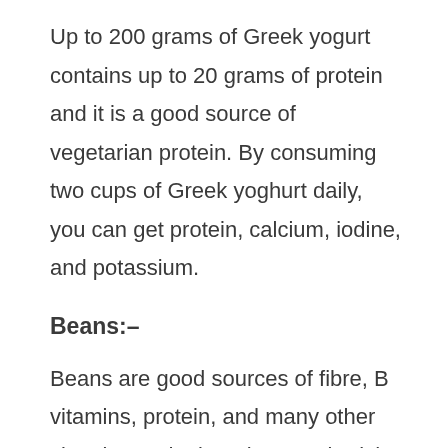Up to 200 grams of Greek yogurt contains up to 20 grams of protein and it is a good source of vegetarian protein. By consuming two cups of Greek yoghurt daily, you can get protein, calcium, iodine, and potassium.
Beans:–
Beans are good sources of fibre, B vitamins, protein, and many other vitamins and minerals. Protein-rich beans and legumes include soybeans, white beans, lentils, pinto beans, cranberry beans, split peas, kidney beans, black